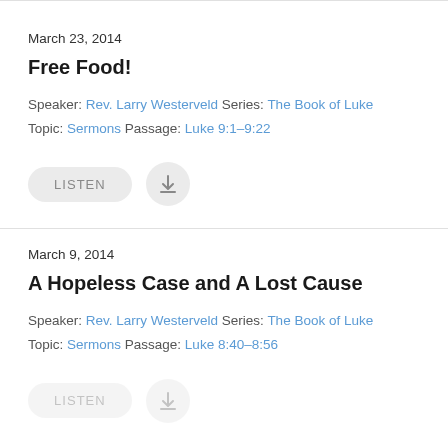March 23, 2014
Free Food!
Speaker: Rev. Larry Westerveld Series: The Book of Luke Topic: Sermons Passage: Luke 9:1–9:22
[Figure (other): LISTEN button and download icon button]
March 9, 2014
A Hopeless Case and A Lost Cause
Speaker: Rev. Larry Westerveld Series: The Book of Luke Topic: Sermons Passage: Luke 8:40–8:56